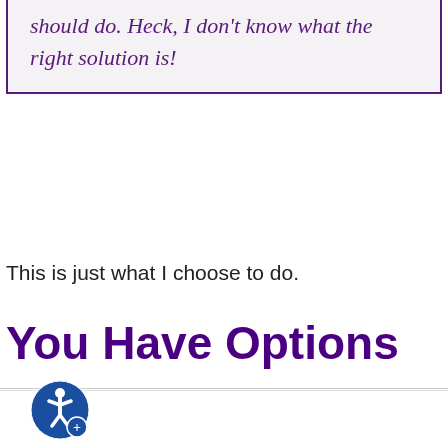should do. Heck, I don't know what the right solution is!
This is just what I choose to do.
You Have Options
We use cookies on our website to give you the best experience by remembering your preferences on repeat visits. By clicking "Accept", you consent to the use of all our cookies.
Cookie Settings
Accept